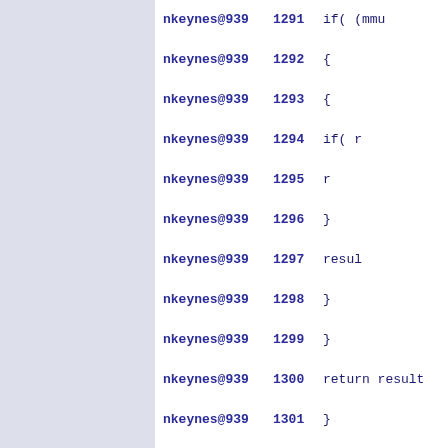nkeynes@939  1291    if( (mmu_
nkeynes@939  1292    {
nkeynes@939  1293    {
nkeynes@939  1294    if( r
nkeynes@939  1295    r
nkeynes@939  1296    }
nkeynes@939  1297    resul
nkeynes@939  1298    }
nkeynes@939  1299  }
nkeynes@939  1300    return result
nkeynes@939  1301}